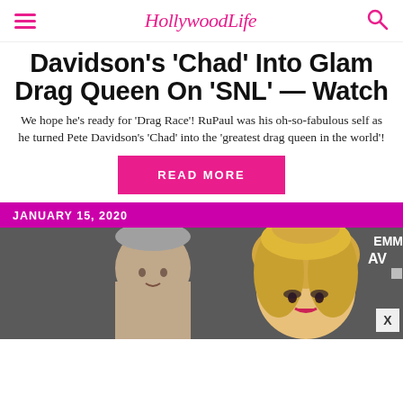HollywoodLife
Davidson's 'Chad' Into Glam Drag Queen On 'SNL' — Watch
We hope he's ready for 'Drag Race'! RuPaul was his oh-so-fabulous self as he turned Pete Davidson's 'Chad' into the 'greatest drag queen in the world'!
READ MORE
JANUARY 15, 2020
[Figure (photo): Two people side by side: a man with short grey hair on the left and a drag queen with big blonde hair and dramatic makeup on the right, photographed at an event with 'AV', 'G', and 'EMM' visible in the background signage.]